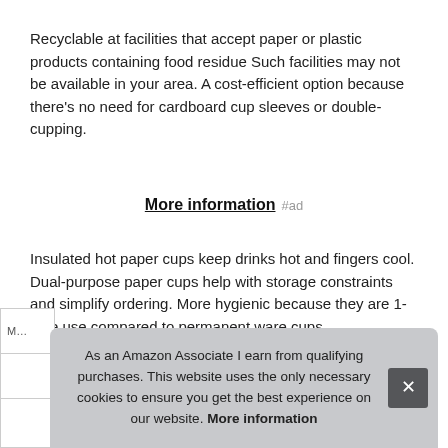Recyclable at facilities that accept paper or plastic products containing food residue Such facilities may not be available in your area. A cost-efficient option because there's no need for cardboard cup sleeves or double-cupping.
More information #ad
Insulated hot paper cups keep drinks hot and fingers cool. Dual-purpose paper cups help with storage constraints and simplify ordering. More hygienic because they are 1-time use compared to permanent ware cups.
As an Amazon Associate I earn from qualifying purchases. This website uses the only necessary cookies to ensure you get the best experience on our website. More information